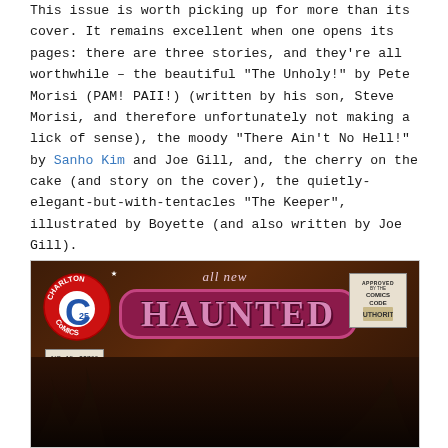This issue is worth picking up for more than its cover. It remains excellent when one opens its pages: there are three stories, and they're all worthwhile – the beautiful "The Unholy!" by Pete Morisi (PAM! PAII!) (written by his son, Steve Morisi, and therefore unfortunately not making a lick of sense), the moody "There Ain't No Hell!" by Sanho Kim and Joe Gill, and, the cherry on the cake (and story on the cover), the quietly-elegant-but-with-tentacles "The Keeper", illustrated by Boyette (and also written by Joe Gill).
[Figure (photo): Comic book cover of 'Haunted' No. 19, published by Charlton Comics. Shows the title 'all new HAUNTED' in stylized horror lettering on a pink/magenta banner over a dark brown wood-grain background. Charlton Comics logo (circle with large C and 25 cent price) in top left. Comics Code Authority seal in top right. Issue info: No. 19, 00766, DEC. 74/CDC in bottom left. Partial illustration visible at bottom.]